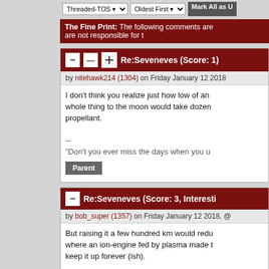Threaded-TOS  Oldest First  Ch...
Mark All as U...
The Fine Print: The following comments are... are not responsible for t...
Re:Seveneves (Score: 1)
by nitehawk214 (1304) on Friday January 12 2018
I don't think you realize just how low of an... whole thing to the moon would take dozen... propellant.

--
"Don't you ever miss the days when you u...
Parent
Re:Seveneves (Score: 3, Interesti...
by bob_super (1357) on Friday January 12 2018, @...
But raising it a few hundred km would redu... where an ion-engine fed by plasma made t... keep it up forever (ish).

It's too low because of the Space Shuttle, a... Baikonour. One is gone, the other should...